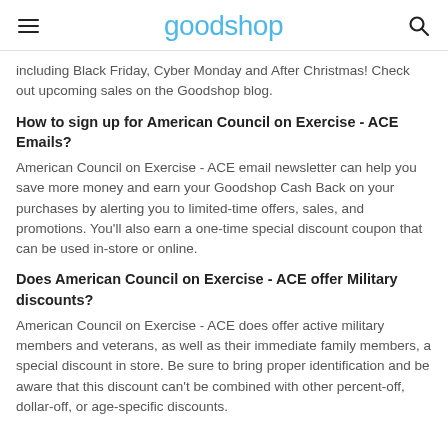goodshop
including Black Friday, Cyber Monday and After Christmas! Check out upcoming sales on the Goodshop blog.
How to sign up for American Council on Exercise - ACE Emails?
American Council on Exercise - ACE email newsletter can help you save more money and earn your Goodshop Cash Back on your purchases by alerting you to limited-time offers, sales, and promotions. You'll also earn a one-time special discount coupon that can be used in-store or online.
Does American Council on Exercise - ACE offer Military discounts?
American Council on Exercise - ACE does offer active military members and veterans, as well as their immediate family members, a special discount in store. Be sure to bring proper identification and be aware that this discount can't be combined with other percent-off, dollar-off, or age-specific discounts.